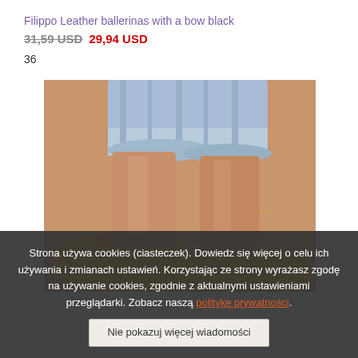Filippo Leather ballerinas with a bow black
31,59 USD  29,94 USD
36
[Figure (photo): Photo of a person's ankles and feet wearing yellow/mustard ballet flat shoes with a bow, paired with denim shorts. A delicate gold anklet is visible on one ankle.]
Strona używa cookies (ciasteczek). Dowiedz się więcej o celu ich używania i zmianach ustawień. Korzystając ze strony wyrażasz zgodę na używanie cookies, zgodnie z aktualnymi ustawieniami przeglądarki. Zobacz naszą politykę prywatności.
Nie pokazuj więcej wiadomości